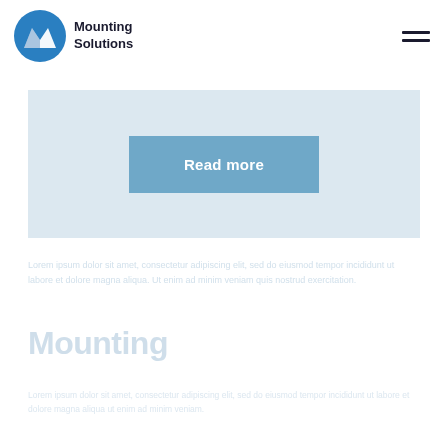[Figure (logo): Mounting Solutions company logo with a blue circular icon containing stylized mountain/letter M shape, followed by bold text 'Mounting Solutions']
[Figure (screenshot): A light blue-grey banner strip with a blue 'Read more' button centered on it]
Read more